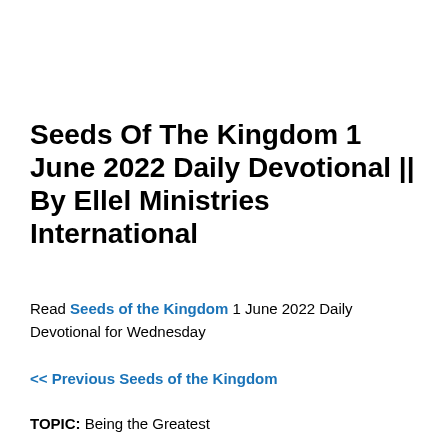Seeds Of The Kingdom 1 June 2022 Daily Devotional || By Ellel Ministries International
Read Seeds of the Kingdom 1 June 2022 Daily Devotional for Wednesday
<< Previous Seeds of the Kingdom
TOPIC: Being the Greatest